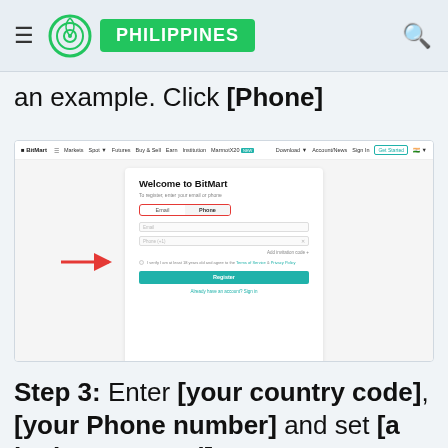PHILIPPINES
an example. Click [Phone]
[Figure (screenshot): BitMart website registration page screenshot showing 'Welcome to BitMart' form with Email/Phone tabs highlighted by a red arrow pointing to the Phone tab]
Step 3: Enter [your country code], [your Phone number] and set [a login password]
[Figure (screenshot): Partial BitMart website navigation bar visible at bottom of page]